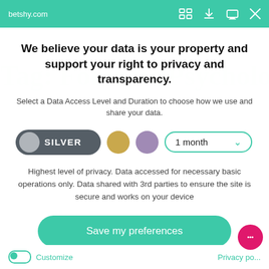betshy.com
We believe your data is your property and support your right to privacy and transparency.
Select a Data Access Level and Duration to choose how we use and share your data.
SILVER | 1 month (controls row)
Highest level of privacy. Data accessed for necessary basic operations only. Data shared with 3rd parties to ensure the site is secure and works on your device
Save my preferences
Customize   Privacy po...